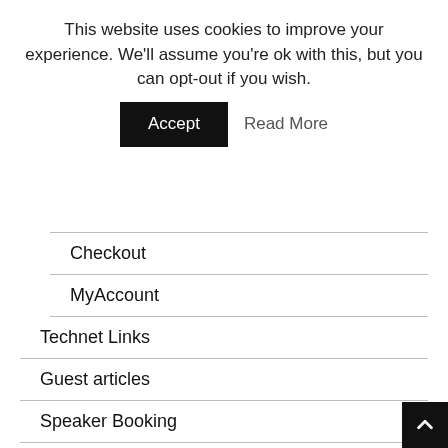This website uses cookies to improve your experience. We'll assume you're ok with this, but you can opt-out if you wish.
Accept   Read More
Checkout
MyAccount
Technet Links
Guest articles
Speaker Booking
Meetup…
Tech Events
Photo Gallery
dotCLOUD Messaging Suite 19